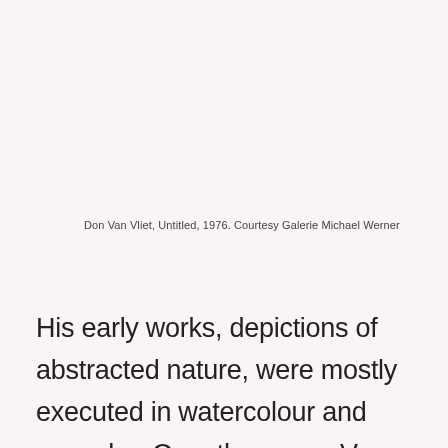Don Van Vliet, Untitled, 1976. Courtesy Galerie Michael Werner
His early works, depictions of abstracted nature, were mostly executed in watercolour and gouache. Over the years, Van Vliet started favouring work with coloured pencils and worked in this manner until his death. The drawings are